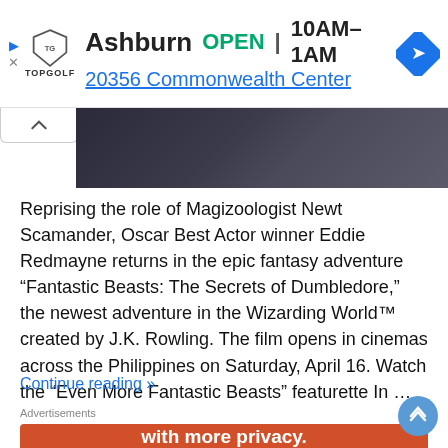[Figure (screenshot): Topgolf advertisement banner showing Ashburn location, OPEN 10AM-1AM, 20356 Commonwealth Center, with navigation icon]
[Figure (photo): Dark cinematic still from Fantastic Beasts movie]
Reprising the role of Magizoologist Newt Scamander, Oscar Best Actor winner Eddie Redmayne returns in the epic fantasy adventure “Fantastic Beasts: The Secrets of Dumbledore,” the newest adventure in the Wizarding World™ created by J.K. Rowling. The film opens in cinemas across the Philippines on Saturday, April 16. Watch the “Even More Fantastic Beasts” featurette In …
Continue reading »
Advertisements
[Figure (screenshot): Orange advertisement: Search, browse, and email with more privacy. All in One Free App]